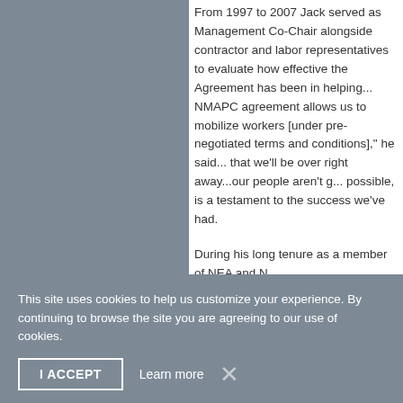From 1997 to 2007 Jack served as Management Co-Chair alongside contractor and labor representatives to evaluate how effective the Agreement has been in helping... NMAPC agreement allows us to mobilize workers [under pre-negotiated terms and conditions], he said... that we'll be over right away...our people aren't going to possible, is a testament to the success we've had.
During his long tenure as a member of NEA and ... Education/Convention Committee. He also served ... Cooperation and Education Trust (LECET). In 1998 ... Construction Associates (COCA). At the time, COCA ... numerous innovative project agreements with S ... the cost-effectiveness of construction for our na... Jack with its annual "Man of the Year" award.
Jack is survived by his wife of 59 years, Sally, alon...
This site uses cookies to help us customize your experience. By continuing to browse the site you are agreeing to our use of cookies.